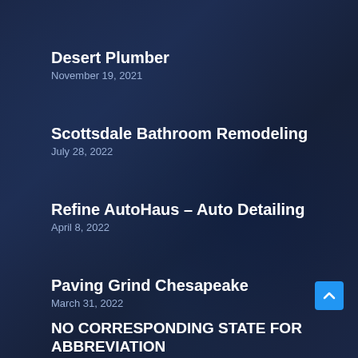Desert Plumber
November 19, 2021
Scottsdale Bathroom Remodeling
July 28, 2022
Refine AutoHaus – Auto Detailing
April 8, 2022
Paving Grind Chesapeake
March 31, 2022
NO CORRESPONDING STATE FOR ABBREVIATION
April 22, 2022